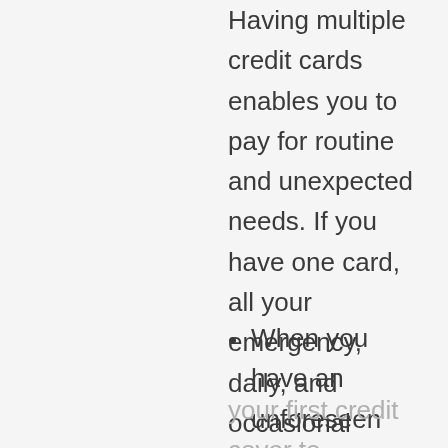Having multiple credit cards enables you to pay for routine and unexpected needs. If you have one card, all your emergency, daily, and occasional expenditures are put on that card, but you can divide the expense when you have multiple cards!
When you have an unforeseen emergency expense, you can use your first credit cover to